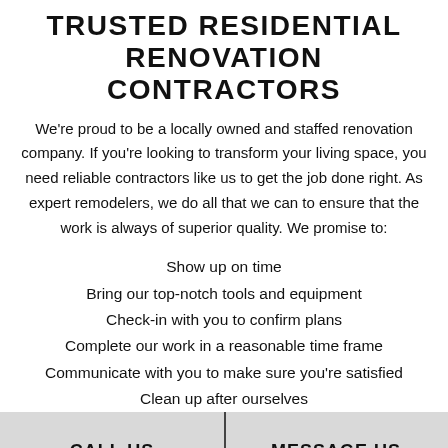TRUSTED RESIDENTIAL RENOVATION CONTRACTORS
We're proud to be a locally owned and staffed renovation company. If you're looking to transform your living space, you need reliable contractors like us to get the job done right. As expert remodelers, we do all that we can to ensure that the work is always of superior quality. We promise to:
Show up on time
Bring our top-notch tools and equipment
Check-in with you to confirm plans
Complete our work in a reasonable time frame
Communicate with you to make sure you're satisfied
Clean up after ourselves
CALL US | MESSAGE US